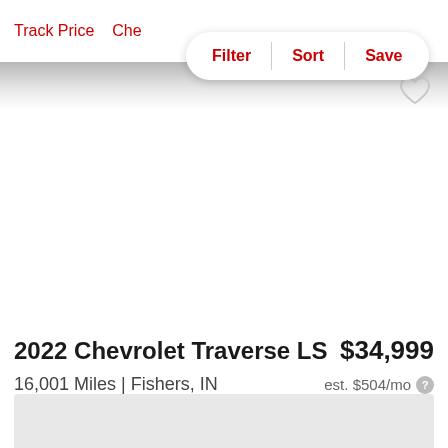55,656 Miles | Fishers, IN
Track Price   Che...
Filter | Sort | Save
[Figure (other): Heart/favorite icon outline]
[Figure (photo): Car listing image area - blank/loading]
2022 Chevrolet Traverse LS
$34,999
16,001 Miles | Fishers, IN
est. $504/mo ?
[Figure (other): Bottom card / dealer info area - gray placeholder]